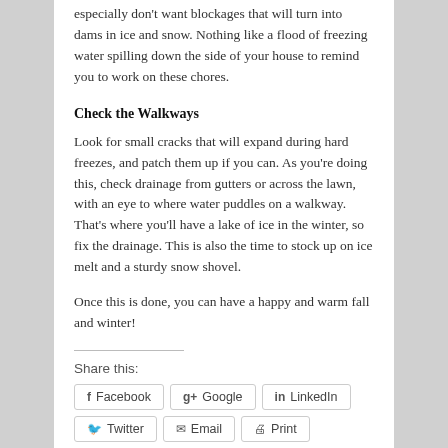especially don't want blockages that will turn into dams in ice and snow. Nothing like a flood of freezing water spilling down the side of your house to remind you to work on these chores.
Check the Walkways
Look for small cracks that will expand during hard freezes, and patch them up if you can. As you're doing this, check drainage from gutters or across the lawn, with an eye to where water puddles on a walkway. That's where you'll have a lake of ice in the winter, so fix the drainage. This is also the time to stock up on ice melt and a sturdy snow shovel.
Once this is done, you can have a happy and warm fall and winter!
Share this:
Facebook  Google+  LinkedIn  Twitter  Email  Print